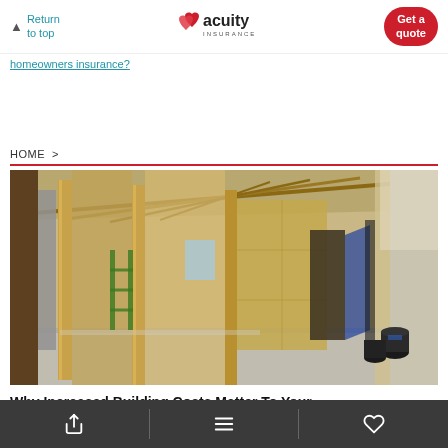Return to top | Acuity Insurance | Get a quote
homeowners insurance?
HOME >
[Figure (photo): Interior of a house under construction showing wood framing, studs, and OSB sheathing with a bare concrete floor and construction materials visible]
Why Increased Building Costs Matter To Your
Share | Menu | Favorites toolbar icons